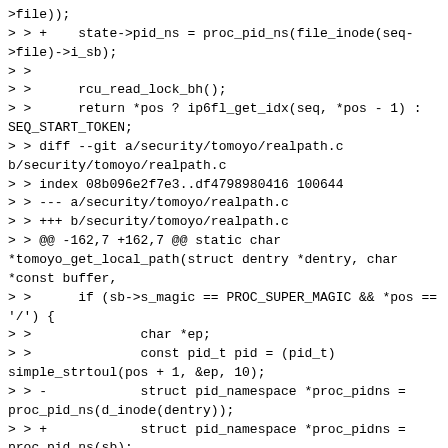>file));
> > +    state->pid_ns = proc_pid_ns(file_inode(seq->file)->i_sb);
> >
> >      rcu_read_lock_bh();
> >      return *pos ? ip6fl_get_idx(seq, *pos - 1) : SEQ_START_TOKEN;
> > diff --git a/security/tomoyo/realpath.c b/security/tomoyo/realpath.c
> > index 08b096e2f7e3..df4798980416 100644
> > --- a/security/tomoyo/realpath.c
> > +++ b/security/tomoyo/realpath.c
> > @@ -162,7 +162,7 @@ static char *tomoyo_get_local_path(struct dentry *dentry, char *const buffer,
> >      if (sb->s_magic == PROC_SUPER_MAGIC && *pos == '/') {
> >              char *ep;
> >              const pid_t pid = (pid_t) simple_strtoul(pos + 1, &ep, 10);
> > -            struct pid_namespace *proc_pidns = proc_pid_ns(d_inode(dentry));
> > +            struct pid_namespace *proc_pidns = proc_pid_ns(sb);
> >
> >              if (*ep == '/' && pid && pid ==
> >                      task_tgid_nr_ns(current, proc_pidns) {
>